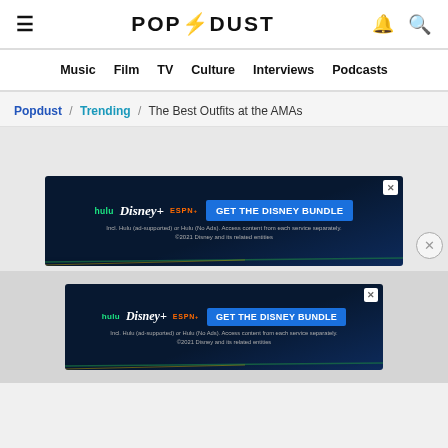≡ POPDUST 🔔 🔍
Music  Film  TV  Culture  Interviews  Podcasts
Popdust / Trending / The Best Outfits at the AMAs
[Figure (screenshot): Disney Bundle advertisement banner: hulu Disney+ ESPN+ GET THE DISNEY BUNDLE. Incl. Hulu (ad-supported) or Hulu (No Ads). Access content from each service separately. ©2021 Disney and its related entities]
[Figure (screenshot): Disney Bundle advertisement banner (smaller): hulu Disney+ ESPN+ GET THE DISNEY BUNDLE. Incl. Hulu (ad-supported) or Hulu (No Ads). Access content from each service separately. ©2021 Disney and its related entities]